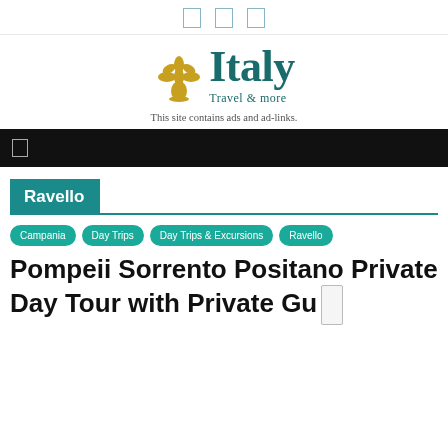social icons (3 icon boxes)
[Figure (logo): Italy Travel & more logo with golden fleur-de-lis and teal serif logotype]
This site contains ads and ad-links.
navigation bar with menu icon
Ravello
Campania
Day Trips
Day Trips & Excursions
Ravello
Pompeii Sorrento Positano Private Day Tour with Private Guide